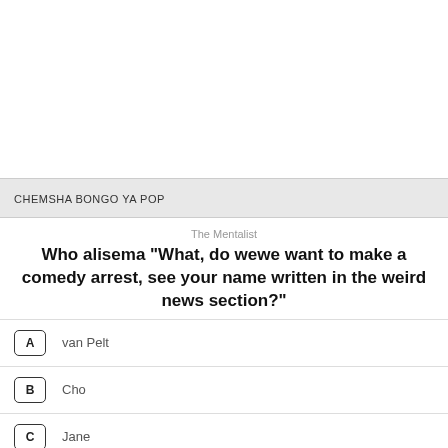CHEMSHA BONGO YA POP
The Mentalist
Who alisema "What, do wewe want to make a comedy arrest, see your name written in the weird news section?"
A  van Pelt
B  Cho
C  Jane
D  Lisbon